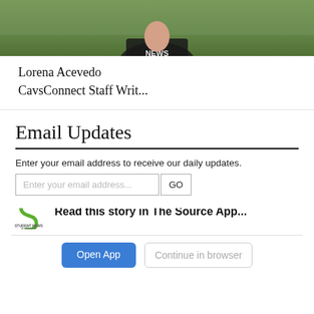[Figure (photo): Partial photo of a person wearing a NEWS shirt, standing on grass, cropped at the top]
Lorena Acevedo
CavsConnect Staff Writ...
Email Updates
Enter your email address to receive our daily updates.
[Figure (photo): Photo of a person dancing or performing, dark background, partially visible]
[Figure (logo): Student News Source app logo - green S shape with 'STUDENT NEWS SOURCE' text]
Read this story in The Source App...
Open App
Continue in browser